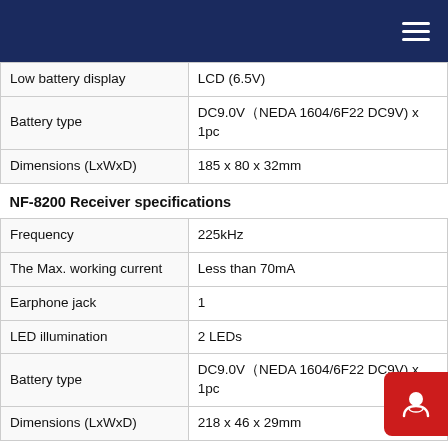| Property | Value |
| --- | --- |
| Low battery display | LCD (6.5V) |
| Battery type | DC9.0V（NEDA 1604/6F22 DC9V) x 1pc |
| Dimensions (LxWxD) | 185 x 80 x 32mm |
| NF-8200 Receiver specifications |  |
| Frequency | 225kHz |
| The Max. working current | Less than 70mA |
| Earphone jack | 1 |
| LED illumination | 2 LEDs |
| Battery type | DC9.0V（NEDA 1604/6F22 DC9V) x 1pc |
| Dimensions (LxWxD) | 218 x 46 x 29mm |
| NF-8200 Remote unit specifications |  |
| Compatible with connectors | RJ11,RJ45 |
| Dimensions (LxWxD) | 107 x 30 x 24mm |
| Accessories |  |